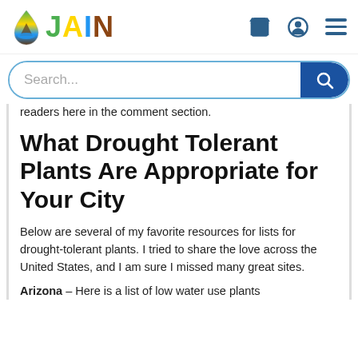JAIN — navigation bar with logo, cart, account, and menu icons
[Figure (screenshot): JAIN irrigation logo: colorful water drop icon beside JAIN lettering in green, yellow, blue, and brown]
readers here in the comment section.
What Drought Tolerant Plants Are Appropriate for Your City
Below are several of my favorite resources for lists for drought-tolerant plants. I tried to share the love across the United States, and I am sure I missed many great sites.
Arizona – Here is a list of low water use plants